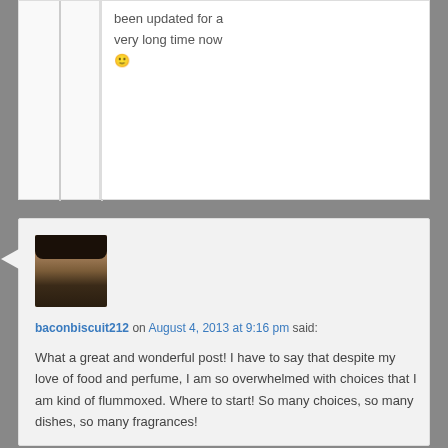been updated for a very long time now 🙂
baconbiscuit212 on August 4, 2013 at 9:16 pm said: What a great and wonderful post! I have to say that despite my love of food and perfume, I am so overwhelmed with choices that I am kind of flummoxed. Where to start! So many choices, so many dishes, so many fragrances!